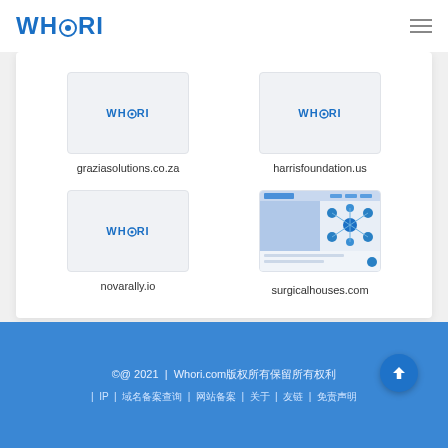WHORI
[Figure (screenshot): WHORI placeholder thumbnail for graziasolutions.co.za]
graziasolutions.co.za
[Figure (screenshot): WHORI placeholder thumbnail for harrisfoundation.us]
harrisfoundation.us
[Figure (screenshot): WHORI placeholder thumbnail for novarally.io]
novarally.io
[Figure (screenshot): Website screenshot thumbnail for surgicalhouses.com showing medical icons/network graphic]
surgicalhouses.com
©@ 2021  |  Whori.com版权所有保留所有权利  |  IP  |  域名备案查询  |  网站备案  |  关于  |  友链  |  免责声明